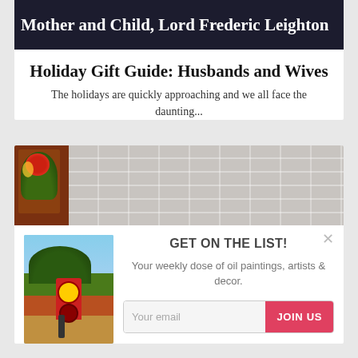[Figure (photo): Artwork image banner showing text 'Mother and Child, Lord Frederic Leighton' on dark background]
Holiday Gift Guide: Husbands and Wives
The holidays are quickly approaching and we all face the daunting...
[Figure (photo): Painting of floral arrangement against a brick wall background]
[Figure (photo): Painting of red gas pump station with trees in background]
GET ON THE LIST!
Your weekly dose of oil paintings, artists & decor.
Your email  JOIN US